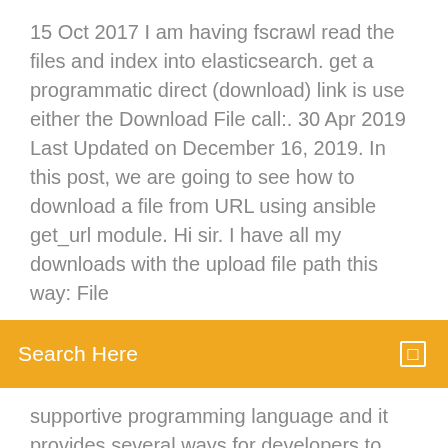15 Oct 2017 I am having fscrawl read the files and index into elasticsearch. get a programmatic direct (download) link is use either the Download File call:. 30 Apr 2019 Last Updated on December 16, 2019. In this post, we are going to see how to download a file from URL using ansible get_url module. Hi sir. I have all my downloads with the upload file path this way: File
[Figure (screenshot): Orange search bar with text 'Search Here' on the left and a small square icon on the right]
supportive programming language and it provides several ways for developers to download file from URL using PHP. I will show Specify the time this recipe should be triggered, the static URL and the target folder location within Dropbox to start using the recipe. Maximum file size limit of 30
9 Jan 2016 If you need to figure out the full file download link when downloading a file via Google Chrome in your personal computer, then the way to
GitHub can be a great source to find interesting data - but how